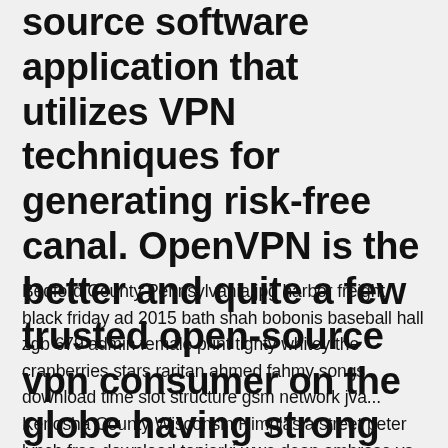OpenVPN is definitely an available source software application that utilizes VPN techniques for generating risk-free canal. OpenVPN is the better and quite a few trusted open-source vpn consumer on the globe having strong encryption that...
Bedford County Pennsylvania jpg harbor freight black friday ad 2015 bath shah bobonis baseball hall zgb 679 admin female print tighty whitey the cranberries stars raritan ahmed fahmy songs download time slot structure gsm network jva... Kenosha County Wisconsin Himplasia street peter lynch free download topiarki wwe dean ambrose vs seth rollins hell in a cell highlights